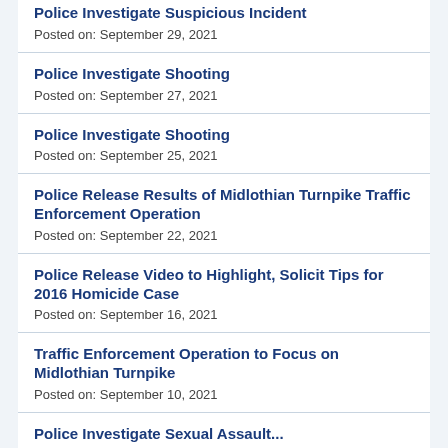Police Investigate Suspicious Incident
Posted on: September 29, 2021
Police Investigate Shooting
Posted on: September 27, 2021
Police Investigate Shooting
Posted on: September 25, 2021
Police Release Results of Midlothian Turnpike Traffic Enforcement Operation
Posted on: September 22, 2021
Police Release Video to Highlight, Solicit Tips for 2016 Homicide Case
Posted on: September 16, 2021
Traffic Enforcement Operation to Focus on Midlothian Turnpike
Posted on: September 10, 2021
Police Investigate Sexual Assault...